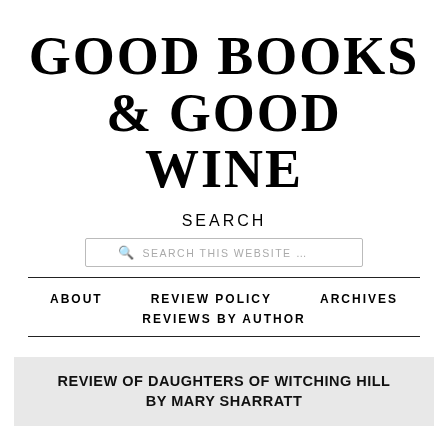GOOD BOOKS & GOOD WINE
SEARCH
[Figure (screenshot): Search input box with placeholder text 'SEARCH THIS WEBSITE ...' and a magnifying glass icon]
ABOUT   REVIEW POLICY   ARCHIVES
REVIEWS BY AUTHOR
REVIEW OF DAUGHTERS OF WITCHING HILL BY MARY SHARRATT